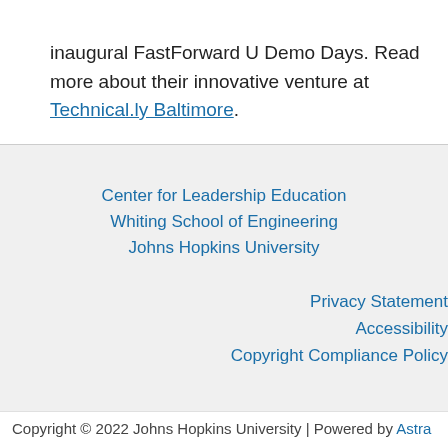inaugural FastForward U Demo Days. Read more about their innovative venture at Technical.ly Baltimore.
Center for Leadership Education
Whiting School of Engineering
Johns Hopkins University
Privacy Statement
Accessibility
Copyright Compliance Policy
Copyright © 2022 Johns Hopkins University | Powered by Astra